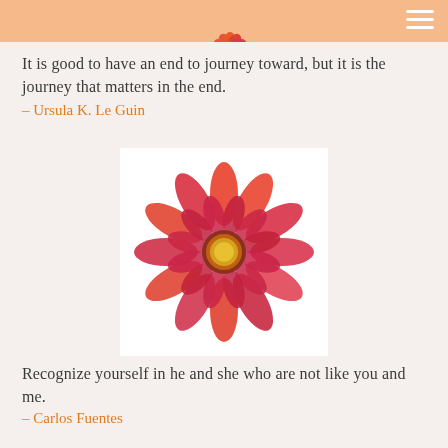It is good to have an end to journey toward, but it is the journey that matters in the end.
– Ursula K. Le Guin
[Figure (photo): A red and pink daisy-like flower (gaillardia) with a yellow center on a white background]
Recognize yourself in he and she who are not like you and me.
– Carlos Fuentes
[Figure (photo): A red and orange daisy-like flower (gaillardia) with a yellow center on a white background]
Art is the means we have of undoing the damage of haste. It's